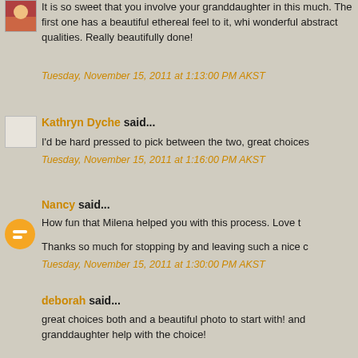It is so sweet that you involve your granddaughter in this much. The first one has a beautiful ethereal feel to it, whi wonderful abstract qualities. Really beautifully done!
Tuesday, November 15, 2011 at 1:13:00 PM AKST
Kathryn Dyche said...
I'd be hard pressed to pick between the two, great choices
Tuesday, November 15, 2011 at 1:16:00 PM AKST
Nancy said...
How fun that Milena helped you with this process. Love t
Thanks so much for stopping by and leaving such a nice c
Tuesday, November 15, 2011 at 1:30:00 PM AKST
deborah said...
great choices both and a beautiful photo to start with! and granddaughter help with the choice!